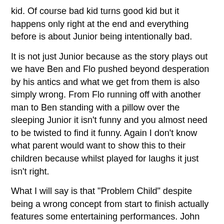kid. Of course bad kid turns good kid but it happens only right at the end and everything before is about Junior being intentionally bad.
It is not just Junior because as the story plays out we have Ben and Flo pushed beyond desperation by his antics and what we get from them is also simply wrong. From Flo running off with another man to Ben standing with a pillow over the sleeping Junior it isn't funny and you almost need to be twisted to find it funny. Again I don't know what parent would want to show this to their children because whilst played for laughs it just isn't right.
What I will say is that "Problem Child" despite being a wrong concept from start to finish actually features some entertaining performances. John Ritter and Amy Yasbeck are intentionally OTT as Ben and Flo whilst Jack Warden is amusing as Ben's grumpy father. And then there is Michael Oliver who it has to be sad is at times a little unsettling as Junior and you could almost see him in an "Omen" movie.
What this all boils down to is that for me "Problem Child" is a flawed idea for a movie because I don't see how a movie about a child intentionally being bad is entertainment you would want to children to watch. The sad thing which is sad